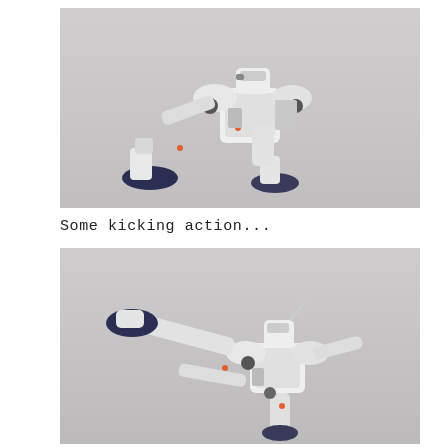[Figure (photo): A white Gundam model figure in a crouching/action pose against a gray background. The figure has white and dark navy/gray armor plating with orange accent markings.]
Some kicking action...
[Figure (photo): The same white Gundam model figure posed in a kicking action stance, with one leg extended forward. The figure has white and dark navy/gray armor with orange accent markings, photographed against a gray background.]